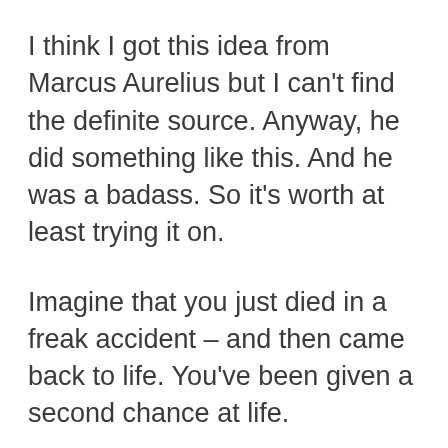I think I got this idea from Marcus Aurelius but I can't find the definite source. Anyway, he did something like this. And he was a badass. So it's worth at least trying it on.
Imagine that you just died in a freak accident – and then came back to life. You've been given a second chance at life.
Who are you going to call?